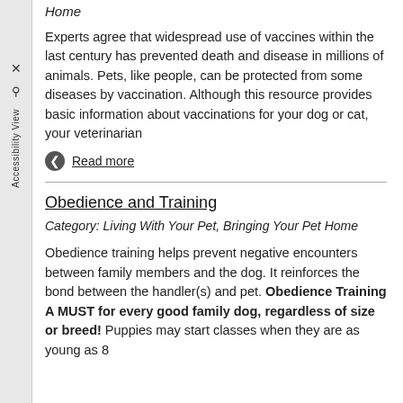Home
Experts agree that widespread use of vaccines within the last century has prevented death and disease in millions of animals. Pets, like people, can be protected from some diseases by vaccination. Although this resource provides basic information about vaccinations for your dog or cat, your veterinarian
Read more
Obedience and Training
Category: Living With Your Pet, Bringing Your Pet Home
Obedience training helps prevent negative encounters between family members and the dog. It reinforces the bond between the handler(s) and pet. Obedience Training A MUST for every good family dog, regardless of size or breed! Puppies may start classes when they are as young as 8